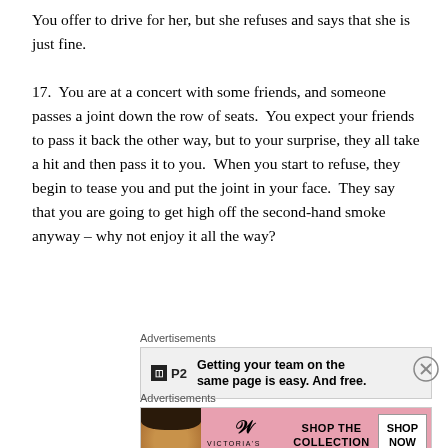You offer to drive for her, but she refuses and says that she is just fine.

17.  You are at a concert with some friends, and someone passes a joint down the row of seats.  You expect your friends to pass it back the other way, but to your surprise, they all take a hit and then pass it to you.  When you start to refuse, they begin to tease you and put the joint in your face.  They say that you are going to get high off the second-hand smoke anyway – why not enjoy it all the way?
[Figure (screenshot): Advertisement banner: P2 logo with text 'Getting your team on the same page is easy. And free.']
[Figure (screenshot): Victoria's Secret advertisement with model photo, VS logo, 'SHOP THE COLLECTION' text, and 'SHOP NOW' button]